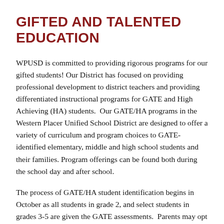GIFTED AND TALENTED EDUCATION
WPUSD is committed to providing rigorous programs for our gifted students! Our District has focused on providing professional development to district teachers and providing differentiated instructional programs for GATE and High Achieving (HA) students.  Our GATE/HA programs in the Western Placer Unified School District are designed to offer a variety of curriculum and program choices to GATE-identified elementary, middle and high school students and their families. Program offerings can be found both during the school day and after school.
The process of GATE/HA student identification begins in October as all students in grade 2, and select students in grades 3-5 are given the GATE assessments.  Parents may opt their child out of testing in second grade should they